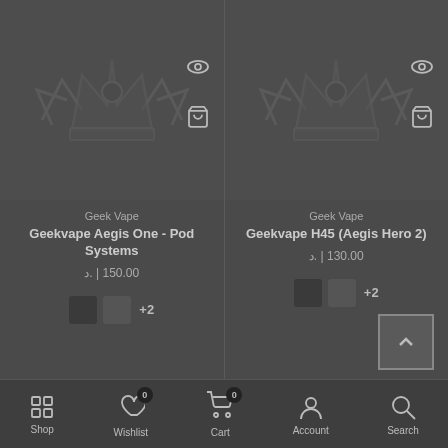[Figure (screenshot): Product card for Geekvape Aegis One - Pod Systems showing crown logo placeholder image with eye and cart action icons]
Geek Vape
Geekvape Aegis One - Pod Systems
150.00 | .د
[Figure (screenshot): Product card for Geekvape H45 (Aegis Hero 2) showing crown logo placeholder image with eye and cart action icons]
Geek Vape
Geekvape H45 (Aegis Hero 2)
130.00 | .د
Shop  Wishlist 0  Cart 0  Account  Search